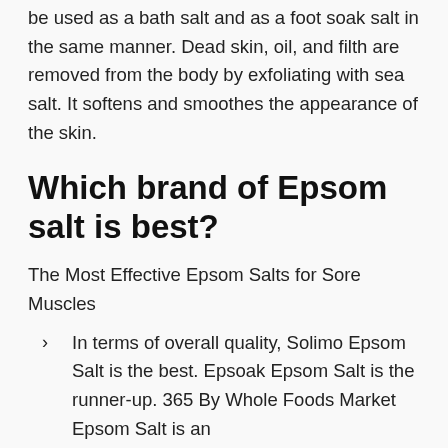be used as a bath salt and as a foot soak salt in the same manner. Dead skin, oil, and filth are removed from the body by exfoliating with sea salt. It softens and smoothes the appearance of the skin.
Which brand of Epsom salt is best?
The Most Effective Epsom Salts for Sore Muscles
In terms of overall quality, Solimo Epsom Salt is the best. Epsoak Epsom Salt is the runner-up. 365 By Whole Foods Market Epsom Salt is an